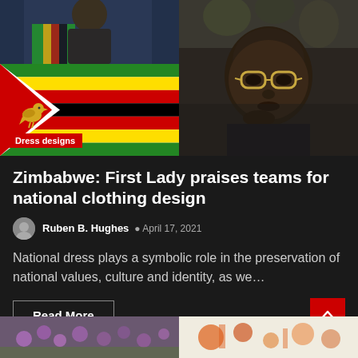[Figure (photo): Top image area: left side shows Zimbabwe flag with Dress designs category tag; right side shows portrait photo of elderly African man with glasses]
Dress designs
Zimbabwe: First Lady praises teams for national clothing design
Ruben B. Hughes  April 17, 2021
National dress plays a symbolic role in the preservation of national values, culture and identity, as we…
Read More
[Figure (photo): Bottom strip: left side shows purple flowers, right side shows decorative objects]